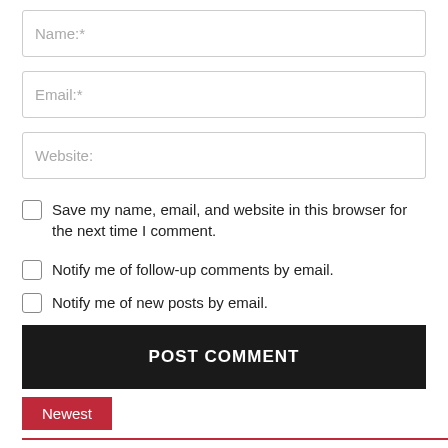Name:*
Email:*
Website:
Save my name, email, and website in this browser for the next time I comment.
Notify me of follow-up comments by email.
Notify me of new posts by email.
POST COMMENT
Newest